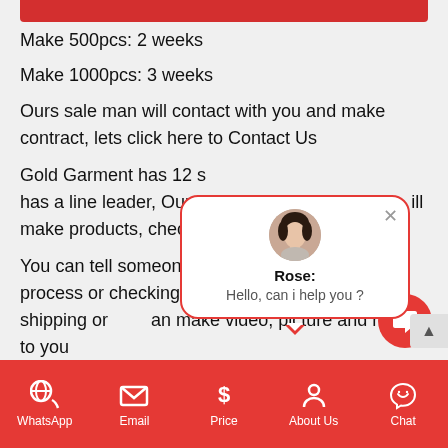[Figure (screenshot): Red banner at top of page]
Make 500pcs: 2 weeks
Make 1000pcs: 3 weeks
Ours sale man will contact with you and make contract, lets click here to Contact Us
Gold Garment has 12 s... has a line leader, Ours work... ill make products, checkin...
[Figure (screenshot): Chat popup with Rose avatar saying Hello, can i help you?]
You can tell someone to ours factory to checking process or checking product when finish before shipping or can make video, picture and report to you
WhatsApp | Email | Price | About Us | Chat